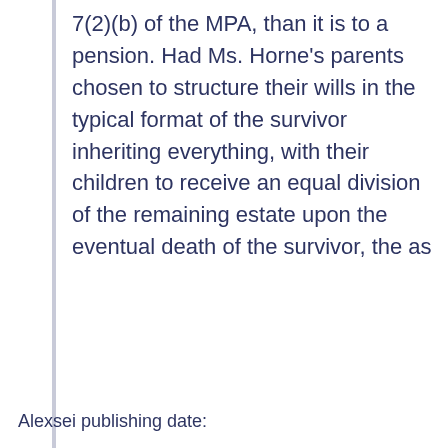7(2)(b) of the MPA, than it is to a pension. Had Ms. Horne's parents chosen to structure their wills in the typical format of the survivor inheriting everything, with their children to receive an equal division of the remaining estate upon the eventual death of the survivor, the as
Alexsei publishing date: